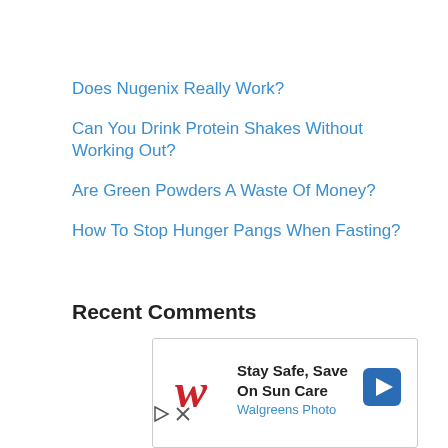Does Nugenix Really Work?
Can You Drink Protein Shakes Without Working Out?
Are Green Powders A Waste Of Money?
How To Stop Hunger Pangs When Fasting?
Recent Comments
[Figure (other): Walgreens Photo advertisement: Stay Safe, Save On Sun Care with Walgreens Photo logo and navigation arrow icon]